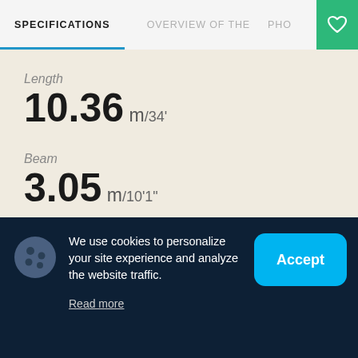SPECIFICATIONS | OVERVIEW OF THE | PHO
Length
10.36 m / 34'
Beam
3.05 m / 10'1"
Draft
We use cookies to personalize your site experience and analyze the website traffic.
Read more
Accept